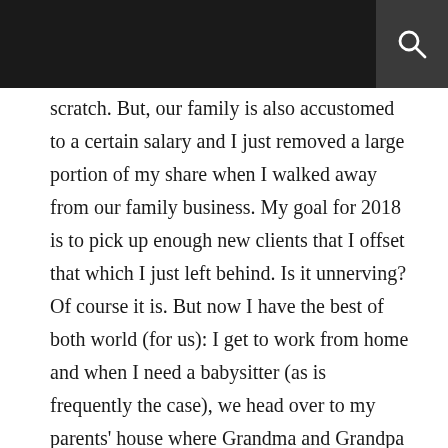scratch. But, our family is also accustomed to a certain salary and I just removed a large portion of my share when I walked away from our family business. My goal for 2018 is to pick up enough new clients that I offset that which I just left behind. Is it unnerving? Of course it is. But now I have the best of both world (for us): I get to work from home and when I need a babysitter (as is frequently the case), we head over to my parents' house where Grandma and Grandpa hang out with Liliana while I work in their home office. Perfection.